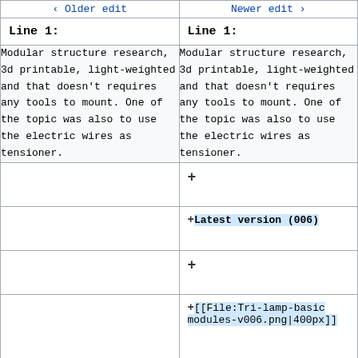| < Older edit | Newer edit > |
| --- | --- |
| Line 1: | Line 1: |
| Modular structure research, 3d printable, light-weighted and that doesn't requires any tools to mount. One of the topic was also to use the electric wires as tensioner. | Modular structure research, 3d printable, light-weighted and that doesn't requires any tools to mount. One of the topic was also to use the electric wires as tensioner. |
|  | + |
|  | + Latest version (006) |
|  | + |
|  | + [[File:Tri-lamp-basic modules-v006.png|400px]] |
|  | + |